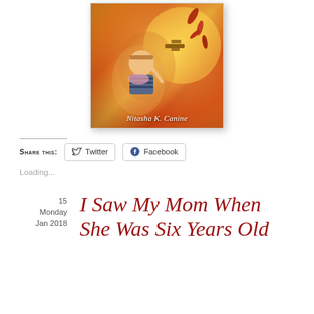[Figure (illustration): Book cover with warm orange/gold sunset background. A young girl with a headband holds a toy biplane. Falling red leaves. Author name 'Nitasha K. Canine' at bottom in white italic serif text.]
Share this:
Twitter
Facebook
Loading...
15
Monday
Jan 2018
I Saw My Mom When She Was Six Years Old